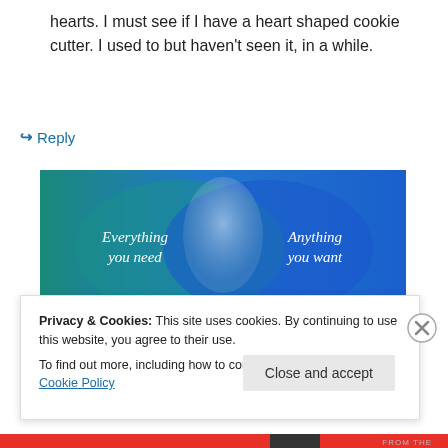hearts. I must see if I have a heart shaped cookie cutter. I used to but haven’t seen it, in a while.
↪ Reply
[Figure (illustration): Venn diagram style image with two overlapping circles on a teal/blue gradient background. Left circle text: 'Everything you need', Right circle text: 'Anything you want'. Overlapping area is lighter blue.]
Privacy & Cookies: This site uses cookies. By continuing to use this website, you agree to their use.
To find out more, including how to control cookies, see here: Cookie Policy
Close and accept